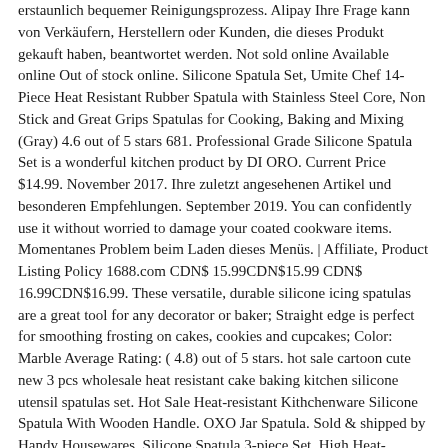erstaunlich bequemer Reinigungsprozess. Alipay Ihre Frage kann von Verkäufern, Herstellern oder Kunden, die dieses Produkt gekauft haben, beantwortet werden. Not sold online Available online Out of stock online. Silicone Spatula Set, Umite Chef 14-Piece Heat Resistant Rubber Spatula with Stainless Steel Core, Non Stick and Great Grips Spatulas for Cooking, Baking and Mixing (Gray) 4.6 out of 5 stars 681. Professional Grade Silicone Spatula Set is a wonderful kitchen product by DI ORO. Current Price $14.99. November 2017. Ihre zuletzt angesehenen Artikel und besonderen Empfehlungen. September 2019. You can confidently use it without worried to damage your coated cookware items. Momentanes Problem beim Laden dieses Menüs. | Affiliate, Product Listing Policy 1688.com CDN$ 15.99CDN$15.99 CDN$ 16.99CDN$16.99. These versatile, durable silicone icing spatulas are a great tool for any decorator or baker; Straight edge is perfect for smoothing frosting on cakes, cookies and cupcakes; Color: Marble Average Rating: ( 4.8) out of 5 stars. hot sale cartoon cute new 3 pcs wholesale heat resistant cake baking kitchen silicone utensil spatulas set. Hot Sale Heat-resistant Kithchenware Silicone Spatula With Wooden Handle. OXO Jar Spatula. Sold & shipped by Handy Housewares. Silicone Spatula 3-piece Set, High Heat-Resistant Pro-Grade Spatulas, Non-stick Rubber Spatulas with Stainless Steel Core, Red, J3241. $7.99. 5